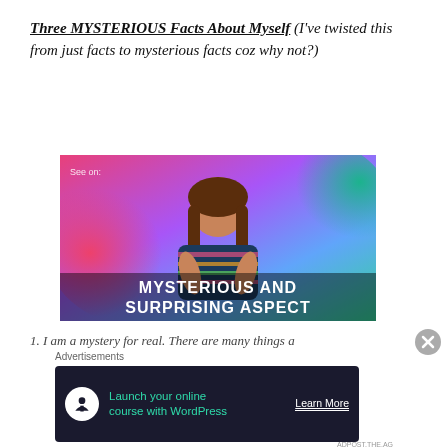Three MYSTERIOUS Facts About Myself (I've twisted this from just facts to mysterious facts coz why not?)
[Figure (photo): Video thumbnail showing a woman with long brown hair in a striped top, standing in front of a colorful gradient background (pink, purple, green). White text overlay reads 'MYSTERIOUS AND SURPRISING ASPECT'. Small text 'See on:' visible in the top-left corner.]
1. I am a mystery for real. There are many things a...
Advertisements
[Figure (screenshot): Advertisement banner with dark navy background. White circular icon with a tree/person logo on the left. Teal text reads 'Launch your online course with WordPress'. White underlined text on the right reads 'Learn More'.]